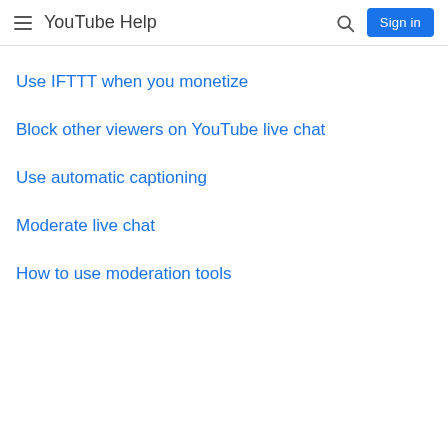YouTube Help
Use IFTTT when you monetize
Block other viewers on YouTube live chat
Use automatic captioning
Moderate live chat
How to use moderation tools